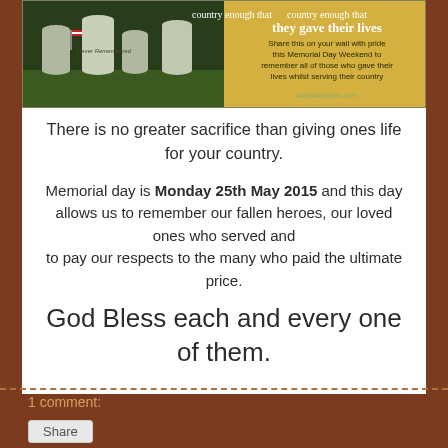[Figure (photo): Memorial Day image showing military cemetery with headstones and American flags, with text overlay about giving lives for country and sharing on Memorial Day Weekend]
There is no greater sacrifice than giving ones life for your country.
Memorial day is Monday 25th May 2015 and this day allows us to remember our fallen heroes, our loved ones who served and to pay our respects to the many who paid the ultimate price.
God Bless each and every one of them.
1 comment:
Share